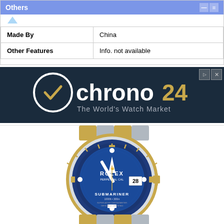| Made By | China |
| --- | --- |
| Other Features | Info. not available |
[Figure (logo): Chrono24 - The World's Watch Market advertisement banner with dark blue background and white/gold logo]
[Figure (photo): Rolex Submariner watch with blue ceramic bezel, blue dial, two-tone steel and gold bracelet, showing date '28', SUBMARINER text and 1000ft/300m water resistance marking]